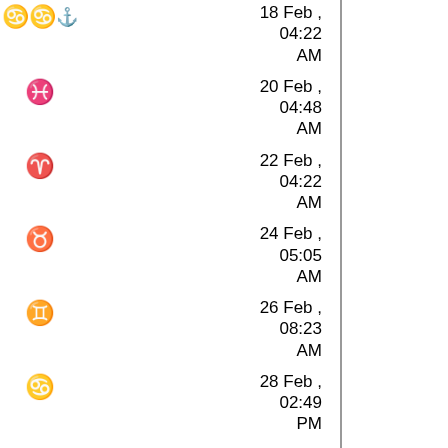| Symbol | Date/Time |
| --- | --- |
| ♒ (Aquarius) | 18 Feb , 04:22 AM |
| ♓ (Pisces) | 20 Feb , 04:48 AM |
| ♈ (Aries) | 22 Feb , 04:22 AM |
| ♉ (Taurus) | 24 Feb , 05:05 AM |
| ♊ (Gemini) | 26 Feb , 08:23 AM |
| ♋ (Cancer) | 28 Feb , 02:49 PM |
Ingresses
| Ingress | Date/Time |
| --- | --- |
| ☉ → ♓ | 18 Feb , 01:04 PM |
| ☉ → ♈ (partial) | 21 Feb , ... |